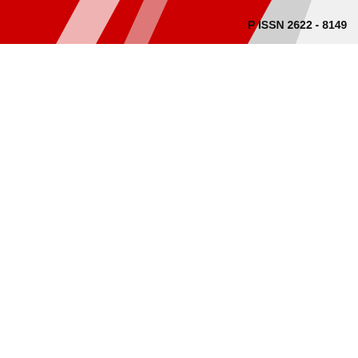[Figure (logo): Journal header with red and grey geometric/arrow shapes (logo) on the left side, and text 'P ISSN 2622 - 8149' on the right in bold black font, on a white background.]
P ISSN 2622 - 8149